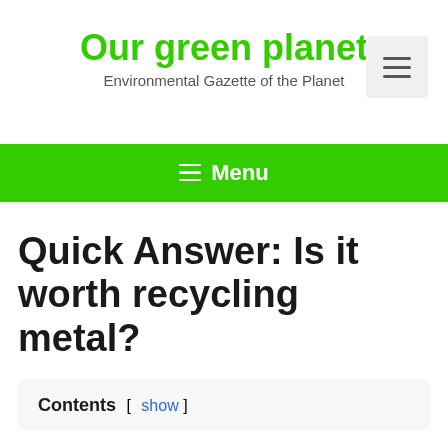Our green planet
Environmental Gazette of the Planet
[Figure (other): Hamburger menu icon button in light grey box]
≡ Menu
Quick Answer: Is it worth recycling metal?
Contents [ show ]